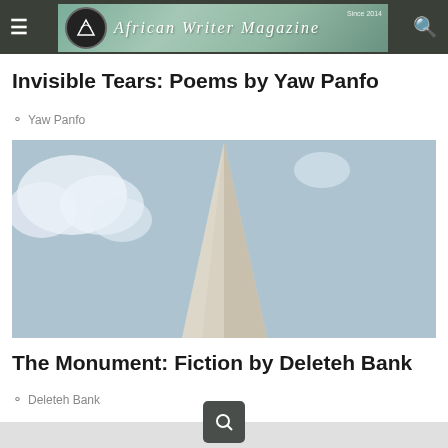African Writer Magazine
Invisible Tears: Poems by Yaw Panfo
Yaw Panfo
[Figure (photo): Photo of a tall obelisk-like monument against a light blue sky with clouds, shot from below looking up]
The Monument: Fiction by Deleteh Bank
Deleteh Bank